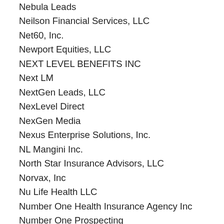Nebula Leads
Neilson Financial Services, LLC
Net60, Inc.
Newport Equities, LLC
NEXT LEVEL BENEFITS INC
Next LM
NextGen Leads, LLC
NexLevel Direct
NexGen Media
Nexus Enterprise Solutions, Inc.
NL Mangini Inc.
North Star Insurance Advisors, LLC
Norvax, Inc
Nu Life Health LLC
Number One Health Insurance Agency Inc
Number One Prospecting
NXT LEVEL HEALTH, LLC
OFFERweb, LLC
Omnis Pro Insurance